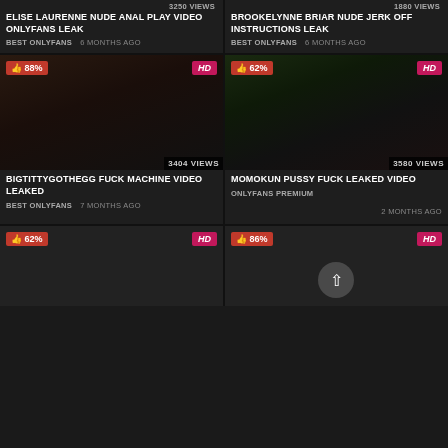[Figure (screenshot): Video thumbnail dark background row 1 left with 3250 views badge]
ELISE LAURENNE NUDE ANAL PLAY VIDEO ONLYFANS LEAK
BEST ONLYFANS   6 MONTHS AGO
[Figure (screenshot): Video thumbnail dark background row 1 right with 1880 views badge]
BROOKELYNNE BRIAR NUDE JERK OFF INSTRUCTIONS LEAK
BEST ONLYFANS   6 MONTHS AGO
[Figure (screenshot): Video thumbnail dark with 88% like badge and HD badge, 3404 views]
BIGTITTYGOTHEGG FUCK MACHINE VIDEO LEAKED
BEST ONLYFANS   7 MONTHS AGO
[Figure (screenshot): Video thumbnail with 62% like badge and HD badge, 3580 views]
MOMOKUN PUSSY FUCK LEAKED VIDEO
ONLYFANS PREMIUM   2 MONTHS AGO
[Figure (screenshot): Video thumbnail partial row 3 left with 62% like badge and HD badge]
[Figure (screenshot): Video thumbnail partial row 3 right with 86% like badge and HD badge]